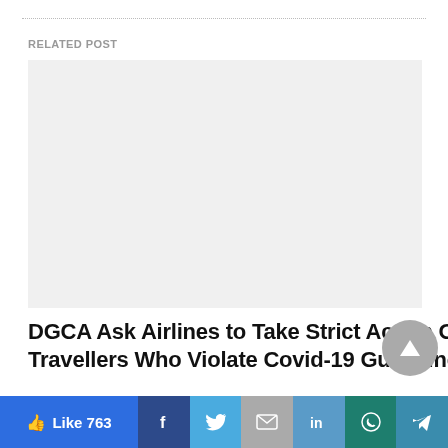RELATED POST
[Figure (photo): Light gray image placeholder for a related article image]
DGCA Ask Airlines to Take Strict Action On Travellers Who Violate Covid-19 Guidelines
Like 763 | Facebook | Twitter | Email | LinkedIn | WhatsApp | Telegram